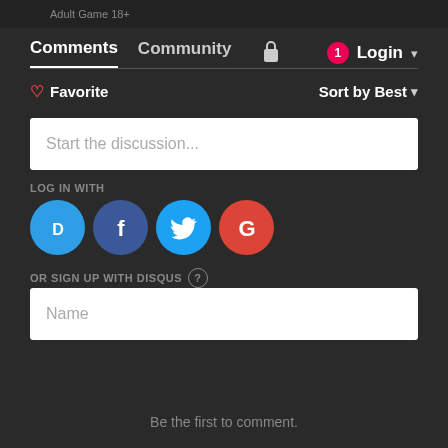Adult Game 18+
Comments
Community
Login
Favorite
Sort by Best
Start the discussion...
LOG IN WITH
OR SIGN UP WITH DISQUS
Name
Be the first to comment.